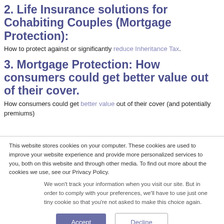2. Life Insurance solutions for Cohabiting Couples (Mortgage Protection):
How to protect against or significantly reduce Inheritance Tax.
3. Mortgage Protection: How consumers could get better value out of their cover.
How consumers could get better value out of their cover (and potentially premiums)
This website stores cookies on your computer. These cookies are used to improve your website experience and provide more personalized services to you, both on this website and through other media. To find out more about the cookies we use, see our Privacy Policy.
We won't track your information when you visit our site. But in order to comply with your preferences, we'll have to use just one tiny cookie so that you're not asked to make this choice again.